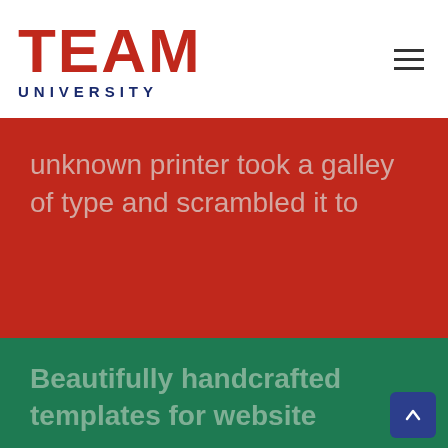TEAM UNIVERSITY
unknown printer took a galley of type and scrambled it to
Beautifully handcrafted templates for website